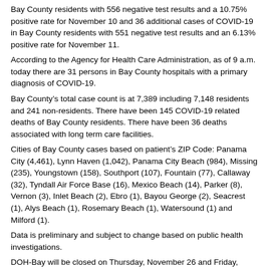Bay County residents with 556 negative test results and a 10.75% positive rate for November 10 and 36 additional cases of COVID-19 in Bay County residents with 551 negative test results and an 6.13% positive rate for November 11.
According to the Agency for Health Care Administration, as of 9 a.m. today there are 31 persons in Bay County hospitals with a primary diagnosis of COVID-19.
Bay County’s total case count is at 7,389 including 7,148 residents and 241 non-residents. There have been 145 COVID-19 related deaths of Bay County residents. There have been 36 deaths associated with long term care facilities.
Cities of Bay County cases based on patient’s ZIP Code: Panama City (4,461), Lynn Haven (1,042), Panama City Beach (984), Missing (235), Youngstown (158), Southport (107), Fountain (77), Callaway (32), Tyndall Air Force Base (16), Mexico Beach (14), Parker (8), Vernon (3), Inlet Beach (2), Ebro (1), Bayou George (2), Seacrest (1), Alys Beach (1), Rosemary Beach (1), Watersound (1) and Milford (1).
Data is preliminary and subject to change based on public health investigations.
DOH-Bay will be closed on Thursday, November 26 and Friday, November 27 for Thanksgiving. DOH-Bay’s testing and screening for COVID-19 will be closed on these dates. We will also not be sending out local news releases, but data will be available at FloridaHealthCOVID19.gov.
Testing
Bay County Testing by Walk On
Lynn Haven Sports Park, 3201 Recreation Drive